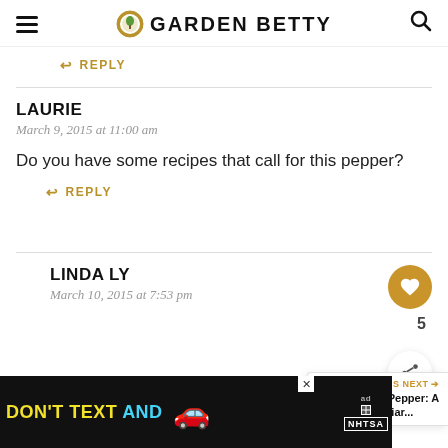GARDEN BETTY
↩ REPLY
LAURIE
March 9, 2015 at 11:00 am
Do you have some recipes that call for this pepper?
↩ REPLY
LINDA LY
March 10, 2015 at 7:53 pm
[Figure (screenshot): WHAT'S NEXT → Fish Pepper: A Peculiar... banner with image]
[Figure (screenshot): DON'T TEXT AND [car emoji] ad banner from NHTSA]